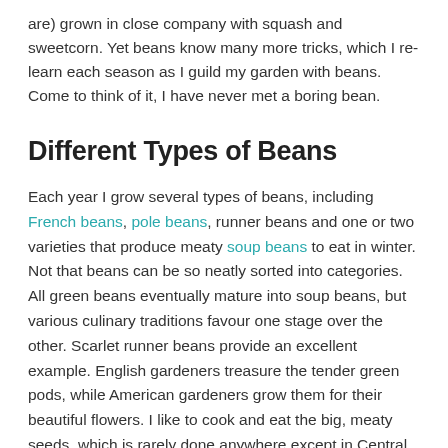are) grown in close company with squash and sweetcorn. Yet beans know many more tricks, which I re-learn each season as I guild my garden with beans. Come to think of it, I have never met a boring bean.
Different Types of Beans
Each year I grow several types of beans, including French beans, pole beans, runner beans and one or two varieties that produce meaty soup beans to eat in winter. Not that beans can be so neatly sorted into categories. All green beans eventually mature into soup beans, but various culinary traditions favour one stage over the other. Scarlet runner beans provide an excellent example. English gardeners treasure the tender green pods, while American gardeners grow them for their beautiful flowers. I like to cook and eat the big, meaty seeds, which is rarely done anywhere except in Central America, the homeland of the species.